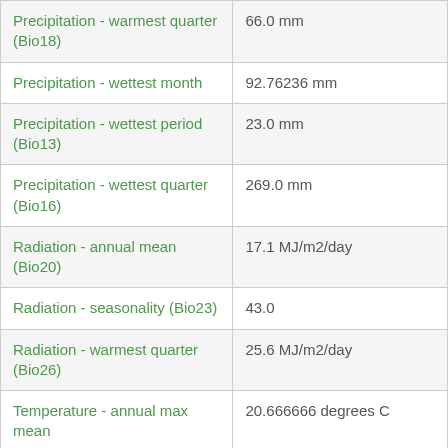| Parameter | Value |
| --- | --- |
| Precipitation - warmest quarter (Bio18) | 66.0 mm |
| Precipitation - wettest month | 92.76236 mm |
| Precipitation - wettest period (Bio13) | 23.0 mm |
| Precipitation - wettest quarter (Bio16) | 269.0 mm |
| Radiation - annual mean (Bio20) | 17.1 MJ/m2/day |
| Radiation - seasonality (Bio23) | 43.0 |
| Radiation - warmest quarter (Bio26) | 25.6 MJ/m2/day |
| Temperature - annual max mean | 20.666666 degrees C |
| Temperature - annual mean (Bio01) | 15.8 degrees C |
| Temperature - annual min | 10.1775 degrees C |